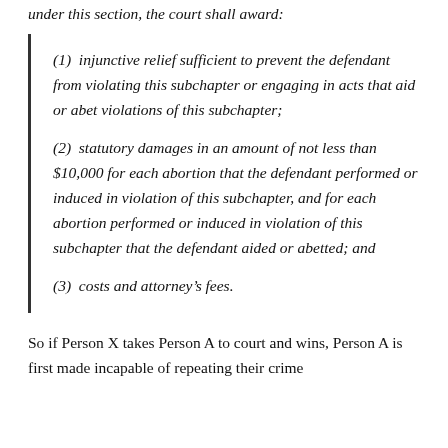under this section, the court shall award:
(1)  injunctive relief sufficient to prevent the defendant from violating this subchapter or engaging in acts that aid or abet violations of this subchapter;
(2)  statutory damages in an amount of not less than $10,000 for each abortion that the defendant performed or induced in violation of this subchapter, and for each abortion performed or induced in violation of this subchapter that the defendant aided or abetted; and
(3)  costs and attorney’s fees.
So if Person X takes Person A to court and wins, Person A is first made incapable of repeating their crime